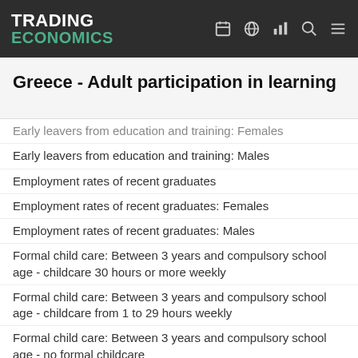TRADING ECONOMICS
Greece - Adult participation in learning
Early leavers from education and training: Females
Early leavers from education and training: Males
Employment rates of recent graduates
Employment rates of recent graduates: Females
Employment rates of recent graduates: Males
Formal child care: Between 3 years and compulsory school age - childcare 30 hours or more weekly
Formal child care: Between 3 years and compulsory school age - childcare from 1 to 29 hours weekly
Formal child care: Between 3 years and compulsory school age - no formal childcare
Formal child care: Less than 3 years - childcare 30 hours or more weekly
Formal child care: Less than 3 years - childcare from 1 to 29 hours weekly
Formal child care: Less than 3 years - no formal childcare
Tertiary educational attainment
Tertiary educational attainment: Females